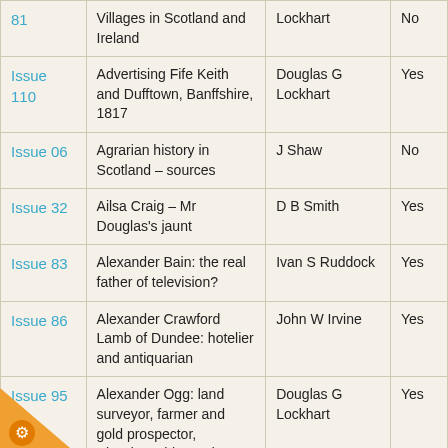| Issue | Title | Author | Available |
| --- | --- | --- | --- |
| 81 | Villages in Scotland and Ireland | Lockhart | No |
| Issue 110 | Advertising Fife Keith and Dufftown, Banffshire, 1817 | Douglas G Lockhart | Yes |
| Issue 06 | Agrarian history in Scotland – sources | J Shaw | No |
| Issue 32 | Ailsa Craig – Mr Douglas's jaunt | D B Smith | Yes |
| Issue 83 | Alexander Bain: the real father of television? | Ivan S Ruddock | Yes |
| Issue 86 | Alexander Crawford Lamb of Dundee: hotelier and antiquarian | John W Irvine | Yes |
| Issue 95 | Alexander Ogg: land surveyor, farmer and gold prospector, Aberdeenshire and New Zealand, Part 2: New Zealand | Douglas G Lockhart | Yes |
| Issue | Alexander Ogg: land surveyor, farmer and gold prospector, Aberdeenshire | Douglas G Lockhart | Yes |